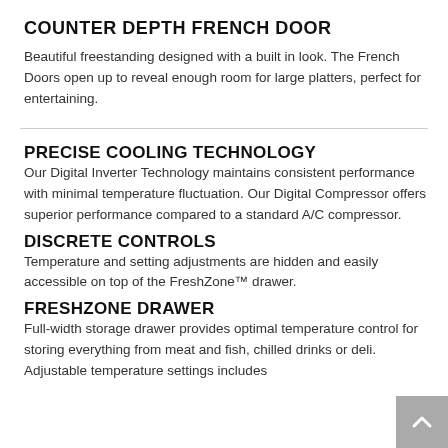COUNTER DEPTH FRENCH DOOR
Beautiful freestanding designed with a built in look. The French Doors open up to reveal enough room for large platters, perfect for entertaining.
PRECISE COOLING TECHNOLOGY
Our Digital Inverter Technology maintains consistent performance with minimal temperature fluctuation. Our Digital Compressor offers superior performance compared to a standard A/C compressor.
DISCRETE CONTROLS
Temperature and setting adjustments are hidden and easily accessible on top of the FreshZone™ drawer.
FRESHZONE DRAWER
Full-width storage drawer provides optimal temperature control for storing everything from meat and fish, chilled drinks or deli. Adjustable temperature settings includes